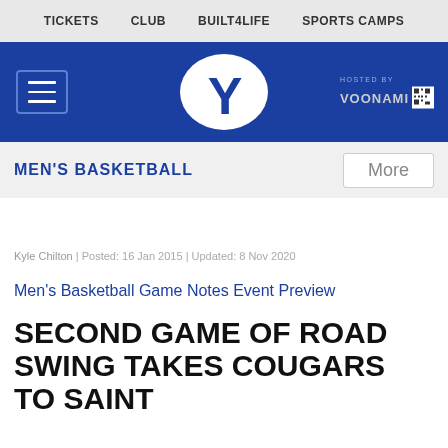TICKETS   CLUB   BUILT4LIFE   SPORTS CAMPS
[Figure (logo): BYU athletics header with blue background, hamburger menu, BYU Y logo in oval, and Voonami hosted by branding]
MEN'S BASKETBALL
Kyle Chilton | Posted: 16 Jan 2015 | Updated: 8 Nov 2020
Men's Basketball Game Notes Event Preview
SECOND GAME OF ROAD SWING TAKES COUGARS TO SAINT